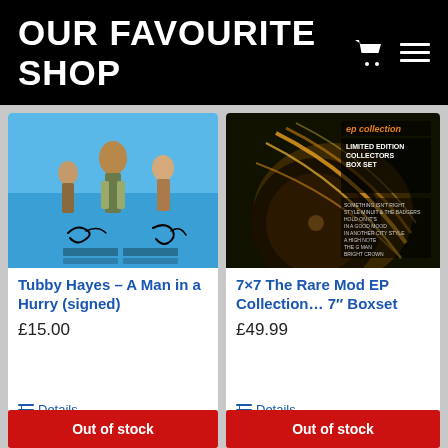OUR FAVOURITE SHOP
[Figure (photo): Tubby Hayes A Man in a Hurry signed movie/album poster with blue background and figures, with handwritten signatures]
Tubby Hayes – A Man in a Hurry (signed)
£15.00
Details
[Figure (photo): 7x7 The Rare Mod EP Collection 7 inch Boxset album cover with gold/dark record and ep collection limited edition collectors box set text]
7×7 The Rare Mod EP Collection… 7″ Boxset
£49.99
Details
Out of stock
Out of stock